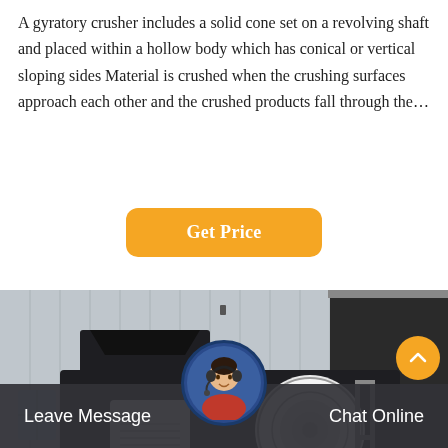A gyratory crusher includes a solid cone set on a revolving shaft and placed within a hollow body which has conical or vertical sloping sides Material is crushed when the crushing surfaces approach each other and the crushed products fall through the…
[Figure (other): Orange rounded button labeled 'Get Price']
[Figure (photo): A large mobile crushing machine (gyratory/impact crusher on a wheeled trailer) parked in front of an industrial building with corrugated metal walls. The machine is predominantly black with white components including a large circular housing on the right side.]
[Figure (photo): Circular avatar of a customer service representative wearing a headset, positioned at the center of the footer bar.]
Leave Message    Chat Online